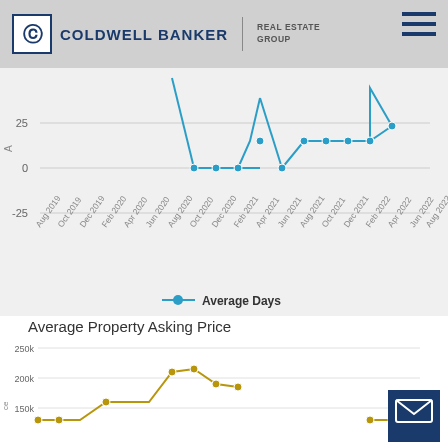[Figure (logo): Coldwell Banker Real Estate Group logo with CB icon and hamburger menu]
[Figure (line-chart): Average Days on Market (partial view)]
Average Days
Average Property Asking Price
[Figure (line-chart): Average Property Asking Price]